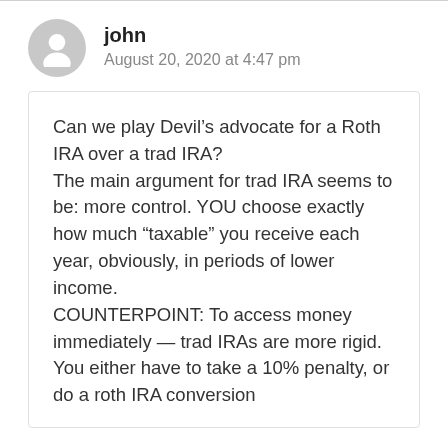john
August 20, 2020 at 4:47 pm
Can we play Devil’s advocate for a Roth IRA over a trad IRA?
The main argument for trad IRA seems to be: more control. YOU choose exactly how much “taxable” you receive each year, obviously, in periods of lower income.
COUNTERPOINT: To access money immediately — trad IRAs are more rigid. You either have to take a 10% penalty, or do a roth IRA conversion